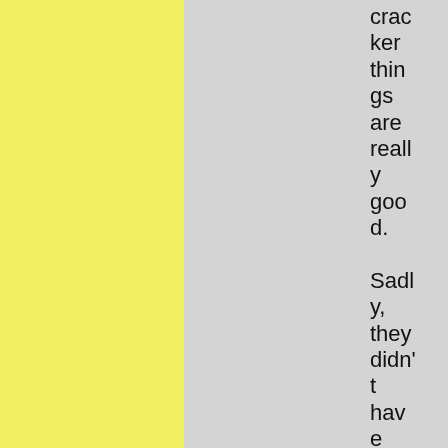cracker things are really good. Sadly, they didn't have the Jones Dairy Far